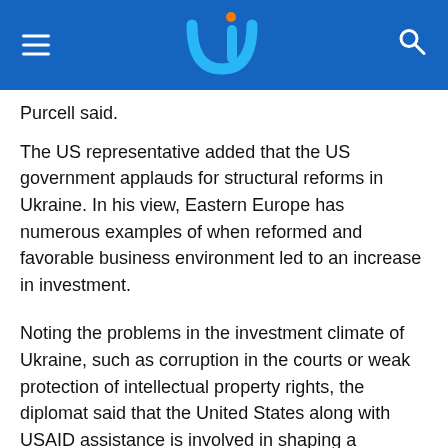UI News (logo header)
Purcell said.
The US representative added that the US government applauds for structural reforms in Ukraine. In his view, Eastern Europe has numerous examples of when reformed and favorable business environment led to an increase in investment.
Noting the problems in the investment climate of Ukraine, such as corruption in the courts or weak protection of intellectual property rights, the diplomat said that the United States along with USAID assistance is involved in shaping a progressive investment agenda in Ukraine.